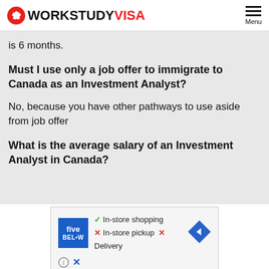WORKSTUDY VISA
is 6 months.
Must I use only a job offer to immigrate to Canada as an Investment Analyst?
No, because you have other pathways to use aside from job offer
What is the average salary of an Investment Analyst in Canada?
[Figure (other): Advertisement banner for Five Below store showing In-store shopping (checkmark), In-store pickup (X), Delivery (X) with navigation arrow icon, info icon and close button]